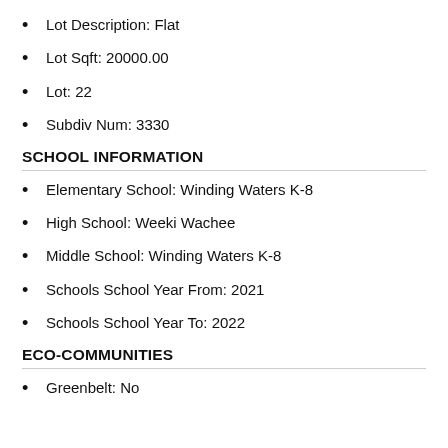Lot Description: Flat
Lot Sqft: 20000.00
Lot: 22
Subdiv Num: 3330
SCHOOL INFORMATION
Elementary School: Winding Waters K-8
High School: Weeki Wachee
Middle School: Winding Waters K-8
Schools School Year From: 2021
Schools School Year To: 2022
ECO-COMMUNITIES
Greenbelt: No